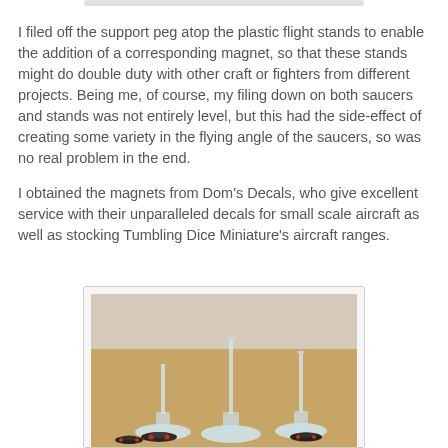I filed off the support peg atop the plastic flight stands to enable the addition of a corresponding magnet, so that these stands might do double duty with other craft or fighters from different projects. Being me, of course, my filing down on both saucers and stands was not entirely level, but this had the side-effect of creating some variety in the flying angle of the saucers, so was no real problem in the end.
I obtained the magnets from Dom's Decals, who give excellent service with their unparalleled decals for small scale aircraft as well as stocking Tumbling Dice Miniature's aircraft ranges.
[Figure (photo): Photo showing three clear plastic flight stands of varying heights on a brown cork/sand surface, with small flying saucer miniatures (black with red accents) at their bases.]